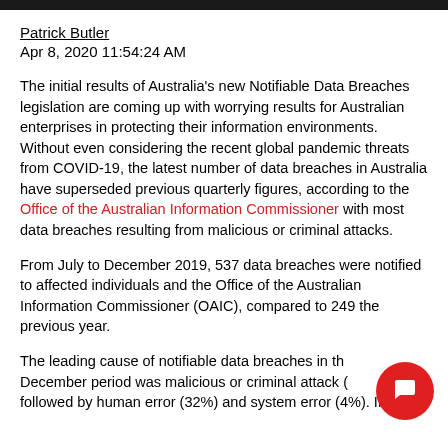Patrick Butler
Apr 8, 2020 11:54:24 AM
The initial results of Australia's new Notifiable Data Breaches legislation are coming up with worrying results for Australian enterprises in protecting their information environments. Without even considering the recent global pandemic threats from COVID-19, the latest number of data breaches in Australia have superseded previous quarterly figures, according to the Office of the Australian Information Commissioner with most data breaches resulting from malicious or criminal attacks.
From July to December 2019, 537 data breaches were notified to affected individuals and the Office of the Australian Information Commissioner (OAIC), compared to 249 the previous year.
The leading cause of notifiable data breaches in the July to December period was malicious or criminal attack followed by human error (32%) and system error (4%). If